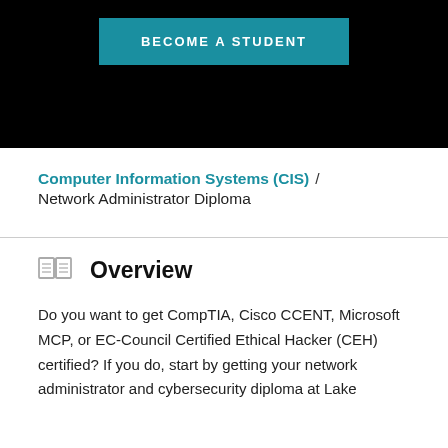[Figure (other): Black banner with teal 'BECOME A STUDENT' button]
Computer Information Systems (CIS)  /  Network Administrator Diploma
Overview
Do you want to get CompTIA, Cisco CCENT, Microsoft MCP, or EC-Council Certified Ethical Hacker (CEH) certified? If you do, start by getting your network administrator and cybersecurity diploma at Lake